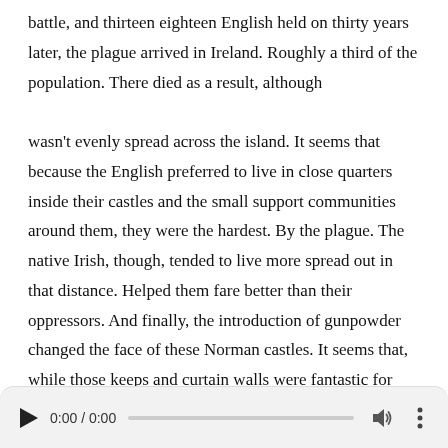battle, and thirteen eighteen English held on thirty years later, the plague arrived in Ireland. Roughly a third of the population. There died as a result, although

wasn't evenly spread across the island. It seems that because the English preferred to live in close quarters inside their castles and the small support communities around them, they were the hardest. By the plague. The native Irish, though, tended to live more spread out in that distance. Helped them fare better than their oppressors. And finally, the introduction of gunpowder changed the face of these Norman castles. It seems that, while those keeps and curtain walls were fantastic for repair in sword. Wielding warriors on foot. Labour law resilience against cannonballs and so the rulers in Ireland began to change
[Figure (other): Audio player bar with play button, time display 0:00 / 0:00, progress bar, volume icon, and more options icon]